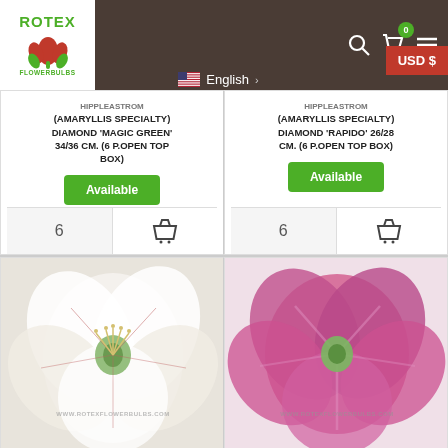[Figure (screenshot): Rotex Flowerbulbs website header with logo (red tulip icon, green ROTEX text, FLOWERBULBS subtitle), navigation icons (search, cart with 0 badge, menu), language selector showing US flag and English, and USD $ currency button in red]
HIPPLEASTROM (AMARYLLIS SPECIALTY) DIAMOND 'MAGIC GREEN' 34/36 CM. (6 P.OPEN TOP BOX)
Available
6
HIPPLEASTROM (AMARYLLIS SPECIALTY) DIAMOND 'RAPIDO' 26/28 CM. (6 P.OPEN TOP BOX)
Available
6
[Figure (photo): White Hippeastrum (Amaryllis) flower with green center and delicate red veining on petals, with WWW.ROTEXFLOWERBULBS.COM watermark]
[Figure (photo): Pink/magenta Hippeastrum (Amaryllis) flowers with darker pink striping, with WWW.ROTEXFLOWERBULBS.COM watermark]